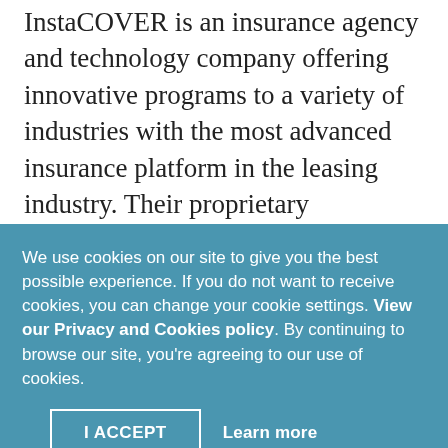InstaCOVER is an insurance agency and technology company offering innovative programs to a variety of industries with the most advanced insurance platform in the leasing industry. Their proprietary application and underwriting automation platform and custom insurance programs allow brokers and funders the ability to offer their customers specialized coverage for their leased/financed...
We use cookies on our site to give you the best possible experience. If you do not want to receive cookies, you can change your cookie settings. View our Privacy and Cookies policy. By continuing to browse our site, you're agreeing to our use of cookies.
I ACCEPT
Learn more